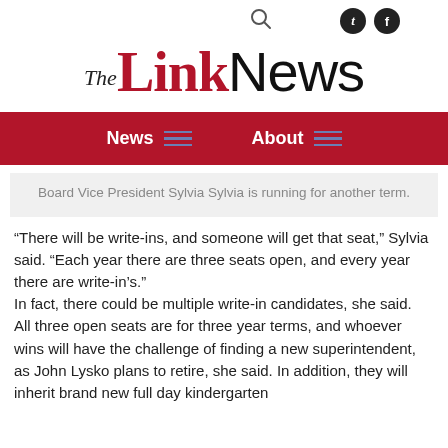The Link News — navigation header with search, tumblr, facebook icons, News and About menu
The Link News
Board Vice President Sylvia Sylvia is running for another term.
“There will be write-ins, and someone will get that seat,” Sylvia said. “Each year there are three seats open, and every year there are write-in’s.”
In fact, there could be multiple write-in candidates, she said.
All three open seats are for three year terms, and whoever wins will have the challenge of finding a new superintendent, as John Lysko plans to retire, she said. In addition, they will inherit brand new full day kindergarten